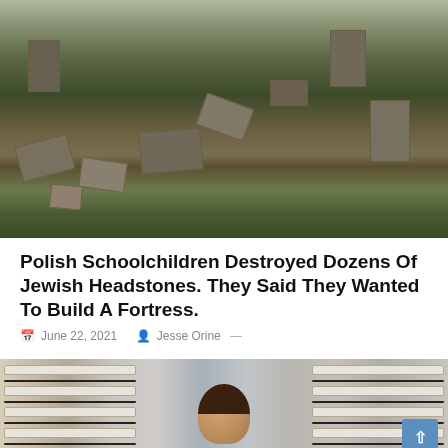[Figure (photo): Photo of overturned and scattered Jewish headstones lying among overgrown vegetation in a cemetery]
Polish Schoolchildren Destroyed Dozens Of Jewish Headstones. They Said They Wanted To Build A Fortress.
June 22, 2021   Jesse Orine —
[Figure (photo): Photo of a person standing in an archive room surrounded by shelves of file boxes, with a blue scroll-to-top button overlaid in the bottom right]